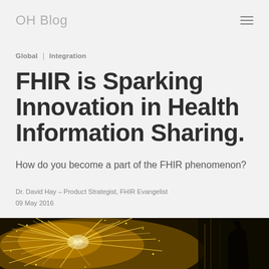OH Blog
Global | Integration
FHIR is Sparking Innovation in Health Information Sharing.
How do you become a part of the FHIR phenomenon?
Dr. David Hay – Product Strategist, FHIR Evangelist
09 May 2016
[Figure (photo): Industrial sparks flying, golden/yellow tone, dark background with a worker silhouette on the right]